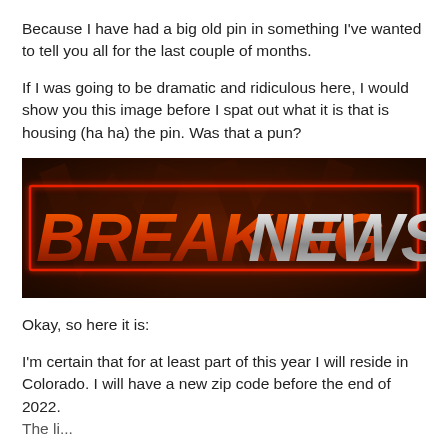Because I have had a big old pin in something I've wanted to tell you all for the last couple of months.
If I was going to be dramatic and ridiculous here, I would show you this image before I spat out what it is that is housing (ha ha) the pin. Was that a pun?
[Figure (illustration): Breaking News graphic with large bold orange text 'BREAKING' and silver/grey text 'NEWS' on a dark red/brown background with dramatic lighting effects and red border outline.]
Okay, so here it is:
I'm certain that for at least part of this year I will reside in Colorado. I will have a new zip code before the end of 2022. The li...